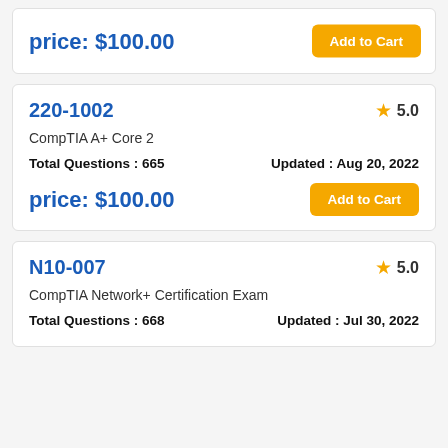price: $100.00
Add to Cart
220-1002
5.0
CompTIA A+ Core 2
Total Questions : 665
Updated : Aug 20, 2022
price: $100.00
Add to Cart
N10-007
5.0
CompTIA Network+ Certification Exam
Total Questions : 668
Updated : Jul 30, 2022